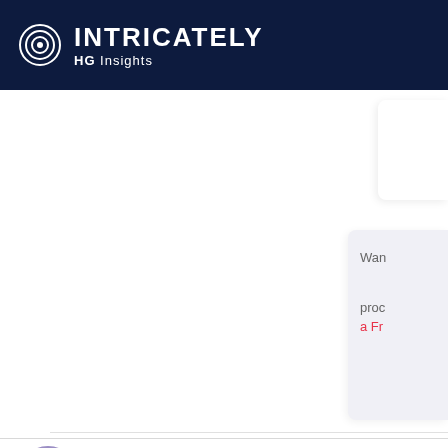[Figure (logo): Intricately HG Insights logo — circular target/spiral icon in white on dark navy background, next to text 'INTRICATELY' in large bold white caps and 'HG Insights' subtitle below in smaller white text]
Wan

prod
a Fr
FINIT SOLUTIONS
DNS 1 Products
Monthly Spend